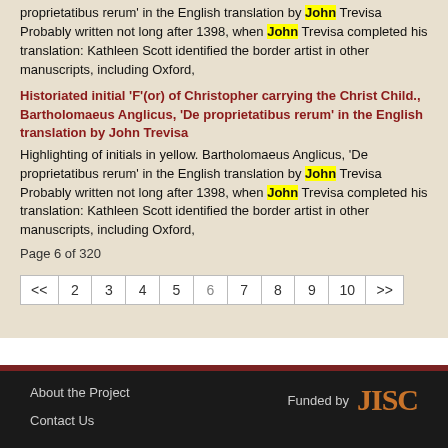proprietatibus rerum' in the English translation by John Trevisa Probably written not long after 1398, when John Trevisa completed his translation: Kathleen Scott identified the border artist in other manuscripts, including Oxford,
Historiated initial 'F'(or) of Christopher carrying the Christ Child., Bartholomaeus Anglicus, 'De proprietatibus rerum' in the English translation by John Trevisa
Highlighting of initials in yellow. Bartholomaeus Anglicus, 'De proprietatibus rerum' in the English translation by John Trevisa Probably written not long after 1398, when John Trevisa completed his translation: Kathleen Scott identified the border artist in other manuscripts, including Oxford,
Page 6 of 320
| << | 2 | 3 | 4 | 5 | 6 | 7 | 8 | 9 | 10 | >> |
| --- | --- | --- | --- | --- | --- | --- | --- | --- | --- | --- |
About the Project
Contact Us
Funded by JISC